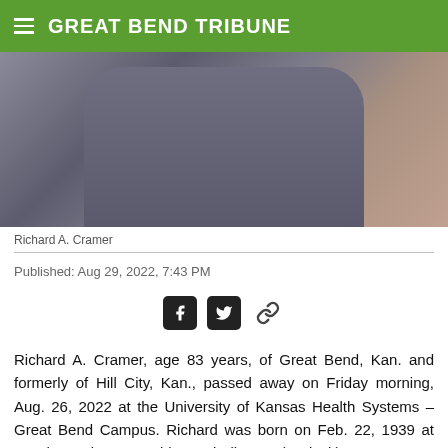GREAT BEND TRIBUNE
[Figure (photo): Portrait photo of Richard A. Cramer, a man in a grey blazer with white shirt, photographed from the torso up.]
Richard A. Cramer
Published: Aug 29, 2022, 7:43 PM
Richard A. Cramer, age 83 years, of Great Bend, Kan. and formerly of Hill City, Kan., passed away on Friday morning, Aug. 26, 2022 at the University of Kansas Health Systems – Great Bend Campus. Richard was born on Feb. 22, 1939 at Omaha, Neb. to Donald T. and Elinor A. (Sprieck) Cramer.